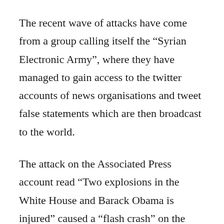The recent wave of attacks have come from a group calling itself the “Syrian Electronic Army”, where they have managed to gain access to the twitter accounts of news organisations and tweet false statements which are then broadcast to the world.
The attack on the Associated Press account read “Two explosions in the White House and Barack Obama is injured” caused a “flash crash” on the stock market, as the auto-trading algorithms picked up the tweet and began rapidly selling certain stocks.